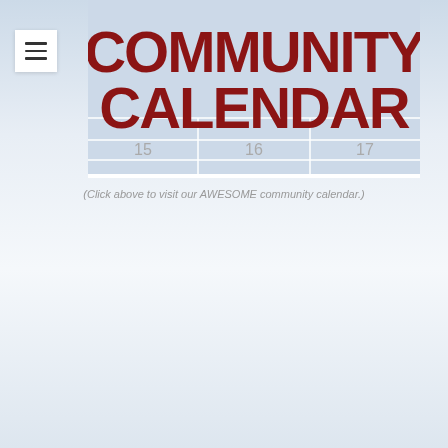[Figure (illustration): Community Calendar banner image showing bold red text 'COMMUNITY CALENDAR' on a light blue calendar grid background with day numbers 15, 16, 17 visible at the bottom]
(Click above to visit our AWESOME community calendar.)